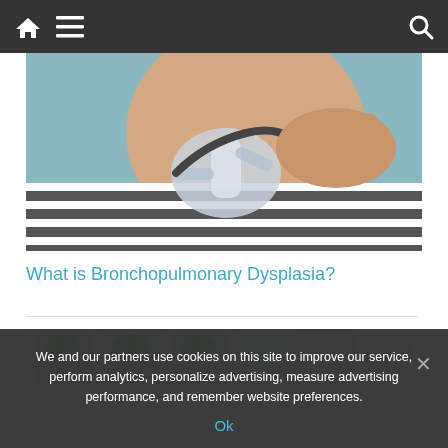Navigation bar with home, menu, and search icons
[Figure (photo): Close-up photo of an infant wearing a CPAP or oxygen mask, lying on a striped fabric, with teal background]
What is Bronchopulmonary Dysplasia?
[Figure (photo): Partial view of a second article image showing windows and bright natural light]
We and our partners use cookies on this site to improve our service, perform analytics, personalize advertising, measure advertising performance, and remember website preferences.
Ok